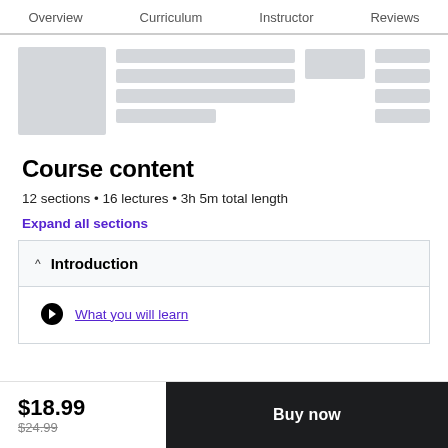Overview  Curriculum  Instructor  Reviews
[Figure (screenshot): Skeleton loading placeholder with grey blocks representing course cards/content]
Course content
12 sections • 16 lectures • 3h 5m total length
Expand all sections
Introduction
What you will learn
$18.99
$24.99
Buy now